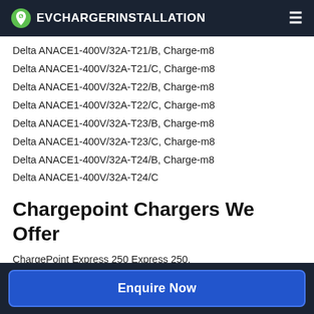EVCHARGERINSTALLATION
Delta ANACE1-400V/32A-T21/B, Charge-m8
Delta ANACE1-400V/32A-T21/C, Charge-m8
Delta ANACE1-400V/32A-T22/B, Charge-m8
Delta ANACE1-400V/32A-T22/C, Charge-m8
Delta ANACE1-400V/32A-T23/B, Charge-m8
Delta ANACE1-400V/32A-T23/C, Charge-m8
Delta ANACE1-400V/32A-T24/B, Charge-m8
Delta ANACE1-400V/32A-T24/C
Chargepoint Chargers We Offer
ChargePoint Express 250 Express 250,